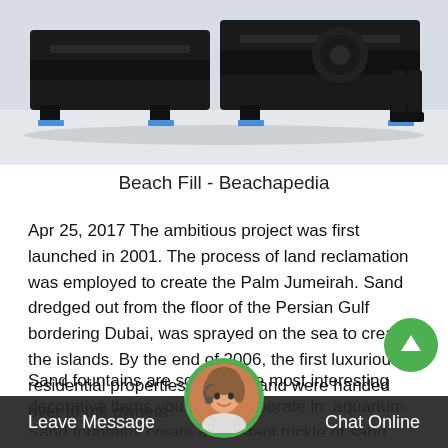[Figure (photo): Photo of large industrial black machinery (appears to be a dredging or heavy equipment machine) on a light floor, with a person's legs visible in the background.]
Beach Fill - Beachapedia
Apr 25, 2017 The ambitious project was first launched in 2001. The process of land reclamation was employed to create the Palm Jumeirah. Sand dredged out from the floor of the Persian Gulf bordering Dubai, was sprayed on the sea to create the islands. By the end of 2006, the first luxurious residential properties on the island were handed over to the owners.
Sand fountains are some of the most interesting decorative items you can incorporate in your aquarium. Sand fountains create a constant trickle of sand that gives the
[Figure (photo): Chat support avatar - a woman with headset in a circular green-bordered frame, overlaid on the bottom bar.]
Leave Message   Chat Online